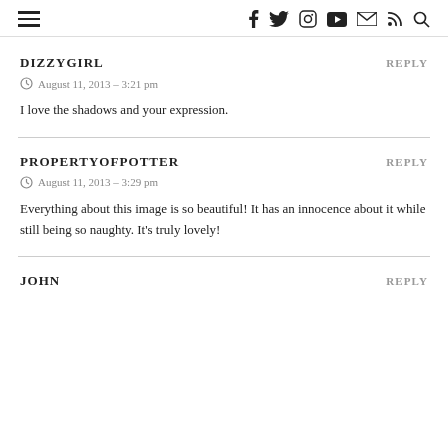≡  f  twitter  instagram  youtube  mail  rss  search
DIZZYGIRL
REPLY
⊙ August 11, 2013 – 3:21 pm
I love the shadows and your expression.
PROPERTYOFPOTTER
REPLY
⊙ August 11, 2013 – 3:29 pm
Everything about this image is so beautiful! It has an innocence about it while still being so naughty. It's truly lovely!
JOHN
REPLY